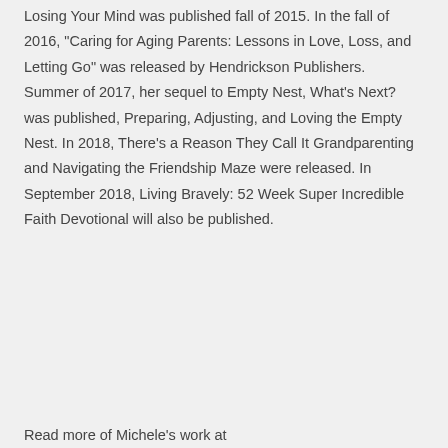Losing Your Mind was published fall of 2015. In the fall of 2016, "Caring for Aging Parents: Lessons in Love, Loss, and Letting Go" was released by Hendrickson Publishers. Summer of 2017, her sequel to Empty Nest, What's Next? was published, Preparing, Adjusting, and Loving the Empty Nest. In 2018, There's a Reason They Call It Grandparenting and Navigating the Friendship Maze were released. In September 2018, Living Bravely: 52 Week Super Incredible Faith Devotional will also be published.
Read more of Michele's work at